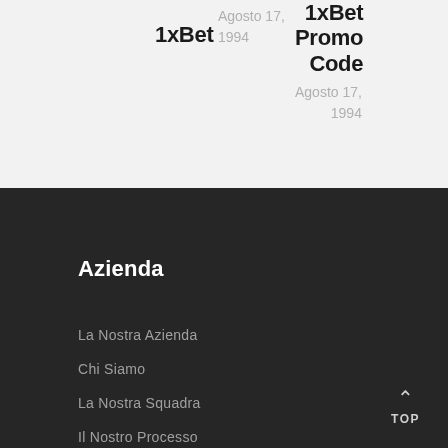1xBet
Agosto 17, 1994
1xBet Promo Code
Agosto 17, 1994
Azienda
La Nostra Azienda
Chi Siamo
La Nostra Squadra
Il Nostro Processo
TOP